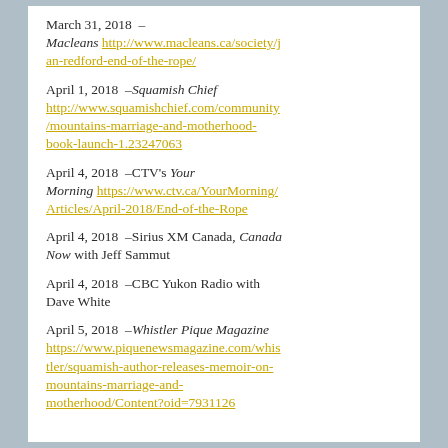March 31, 2018 – Macleans http://www.macleans.ca/society/jan-redford-end-of-the-rope/
April 1, 2018 –Squamish Chief http://www.squamishchief.com/community/mountains-marriage-and-motherhood-book-launch-1.23247063
April 4, 2018 –CTV's Your Morning https://www.ctv.ca/YourMorning/Articles/April-2018/End-of-the-Rope
April 4, 2018 –Sirius XM Canada, Canada Now with Jeff Sammut
April 4, 2018 –CBC Yukon Radio with Dave White
April 5, 2018 –Whistler Pique Magazine https://www.piquenewsmagazine.com/whistler/squamish-author-releases-memoir-on-mountains-marriage-and-motherhood/Content?oid=7931126